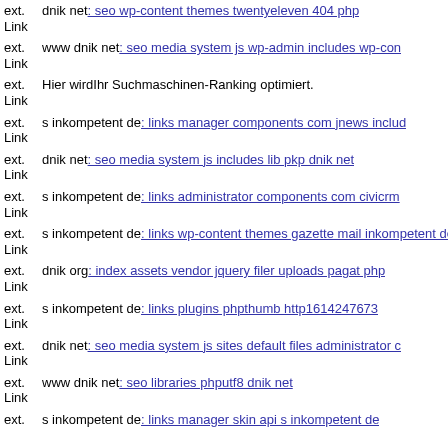ext. Link dnik net: seo wp-content themes twentyeleven 404 php
ext. Link www dnik net: seo media system js wp-admin includes wp-con
ext. Link Hier wirdIhr Suchmaschinen-Ranking optimiert.
ext. Link s inkompetent de: links manager components com jnews includ
ext. Link dnik net: seo media system js includes lib pkp dnik net
ext. Link s inkompetent de: links administrator components com civicrm
ext. Link s inkompetent de: links wp-content themes gazette mail inkompetent de
ext. Link dnik org: index assets vendor jquery filer uploads pagat php
ext. Link s inkompetent de: links plugins phpthumb http1614247673
ext. Link dnik net: seo media system js sites default files administrator c
ext. Link www dnik net: seo libraries phputf8 dnik net
ext. Link s inkompetent de: links manager skin api s inkompetent de